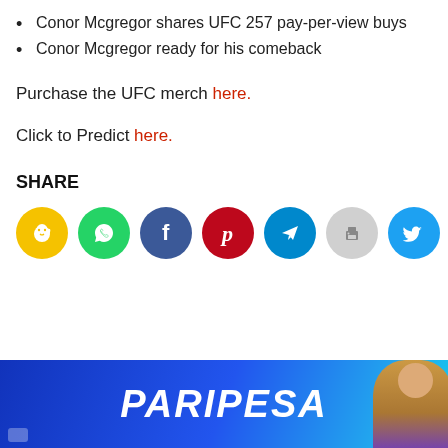Conor Mcgregor shares UFC 257 pay-per-view buys
Conor Mcgregor ready for his comeback
Purchase the UFC merch here.
Click to Predict here.
SHARE
[Figure (infographic): Row of 7 social share icon circles: yellow (bird/Snapchat), green (WhatsApp), dark blue (Facebook), red (Pinterest), cyan (Telegram), gray (print), cyan (Twitter)]
[Figure (infographic): Paripesa advertisement banner with blue gradient background and white italic bold text PARIPESA, with a woman figure on the right]